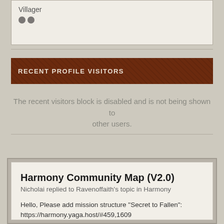Villager
RECENT PROFILE VISITORS
The recent visitors block is disabled and is not being shown to other users.
Harmony Community Map (V2.0)
Nicholai replied to Ravenoffaith's topic in Harmony

Hello, Please add mission structure "Secret to Fallen":
https://harmony.yaga.host/#459,1609

June 12   285 replies